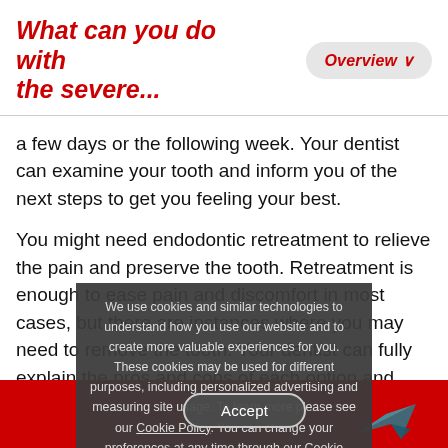What can you do with the severe...
a few days or the following week. Your dentist can examine your tooth and inform you of the next steps to get you feeling your best.
You might need endodontic retreatment to relieve the pain and preserve the tooth. Retreatment is enough to ease pain and discomfort in most cases, but there are instances where you may need to remove the tooth. Your dentist can fully explain the pros and cons of each option and which one is the best choice for you.
We use cookies and similar technologies to understand how you use our website and to create more valuable experiences for you. These cookies may be used for different purposes, including personalized advertising and measuring site usage. To learn more please see our Cookie Policy. You can change your preferences at any time through our Cookie preferences tool.